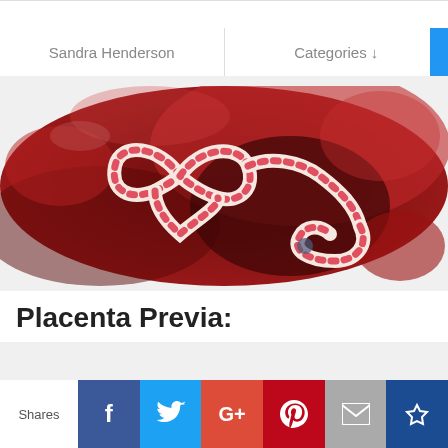Sandra Henderson
Categories ↓
[Figure (photo): Close-up photograph of a human placenta with umbilical cord arranged in a heart shape on a red tissue background.]
Placenta Previa:
Shares
f (Facebook share button)
Twitter share button
G+ (Google Plus share button)
P (Pinterest share button)
Email share button
Sumo share button